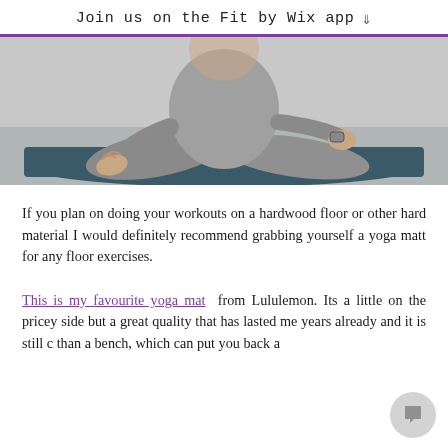Join us on the Fit by Wix app ↓
[Figure (photo): Person sitting cross-legged in yoga meditation pose on a teal/dark yoga mat, wearing grey athletic wear, hands resting on knees in mudra position]
If you plan on doing your workouts on a hardwood floor or other hard material I would definitely recommend grabbing yourself a yoga matt for any floor exercises.
This is my favourite yoga mat from Lululemon. Its a little on the pricey side but a great quality that has lasted me years already and it is still c than a bench, which can put you back a